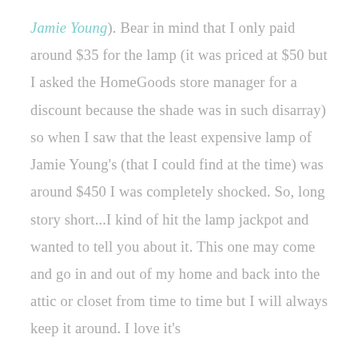Jamie Young). Bear in mind that I only paid around $35 for the lamp (it was priced at $50 but I asked the HomeGoods store manager for a discount because the shade was in such disarray) so when I saw that the least expensive lamp of Jamie Young's (that I could find at the time) was around $450 I was completely shocked. So, long story short...I kind of hit the lamp jackpot and wanted to tell you about it. This one may come and go in and out of my home and back into the attic or closet from time to time but I will always keep it around. I love it's